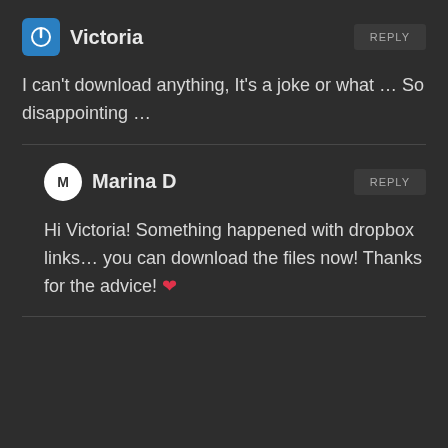Victoria
REPLY
I can't download anything, It's a joke or what … So disappointing …
Marina D
REPLY
Hi Victoria! Something happened with dropbox links… you can download the files now! Thanks for the advice! ❤